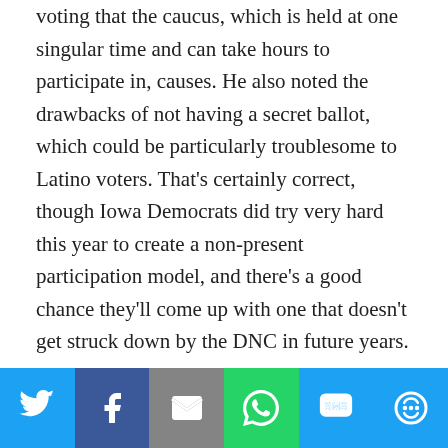voting that the caucus, which is held at one singular time and can take hours to participate in, causes. He also noted the drawbacks of not having a secret ballot, which could be particularly troublesome to Latino voters. That's certainly correct, though Iowa Democrats did try very hard this year to create a non-present participation model, and there's a good chance they'll come up with one that doesn't get struck down by the DNC in future years.
That prompted a discussion of what voting rights laws could increase access in any state.
That too, though, opens up some complexities. Iowa has
[Figure (infographic): Social sharing bar with icons for Twitter, Facebook, Email, WhatsApp, SMS, and More]